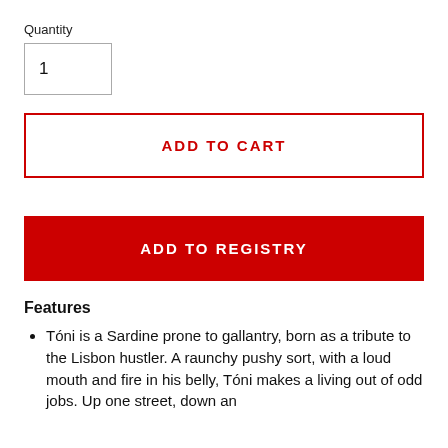Quantity
1
ADD TO CART
ADD TO REGISTRY
Features
Tóni is a Sardine prone to gallantry, born as a tribute to the Lisbon hustler. A raunchy pushy sort, with a loud mouth and fire in his belly, Tóni makes a living out of odd jobs. Up one street, down an